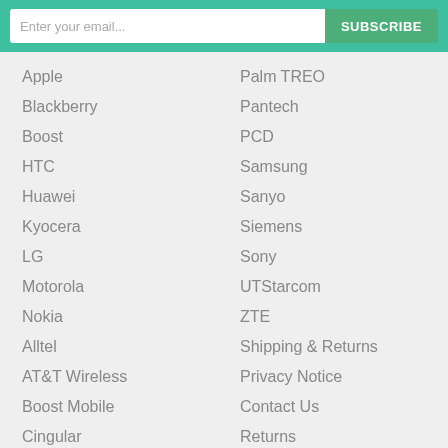Enter your email
SUBSCRIBE
Apple
Blackberry
Boost
HTC
Huawei
Kyocera
LG
Motorola
Nokia
Alltel
AT&T Wireless
Boost Mobile
Cingular
MetroPCS
Nextel
Sprint PCS
T-Mobile
Palm TREO
Pantech
PCD
Samsung
Sanyo
Siemens
Sony
UTStarcom
ZTE
Shipping & Returns
Privacy Notice
Contact Us
Returns
Site Map
FAQ
Cellular Country Preferred
Blog